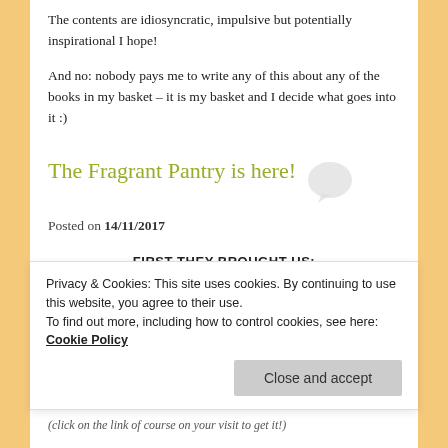The contents are idiosyncratic, impulsive but potentially inspirational I hope!
And no: nobody pays me to write any of this about any of the books in my basket – it is my basket and I decide what goes into it :)
The Fragrant Pantry is here!
Posted on 14/11/2017
FIRST THEY BROUGHT US:
Privacy & Cookies: This site uses cookies. By continuing to use this website, you agree to their use.
To find out more, including how to control cookies, see here:
Cookie Policy
Close and accept
(click on the link of course on your visit to get it!)